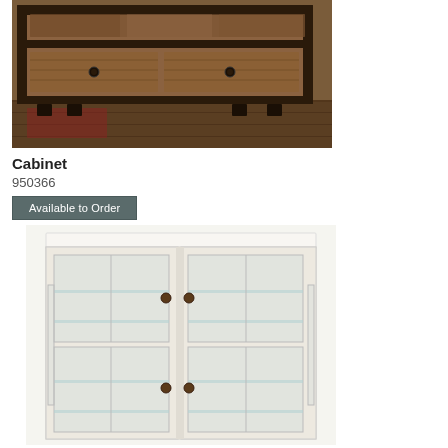[Figure (photo): Rustic reclaimed wood cabinet/dresser with metal hardware and dark wood frame, shown on a hardwood floor with a red accent rug]
Cabinet
950366
[Figure (other): Available to Order button - dark gray/teal rectangular button]
[Figure (photo): White painted curio/display cabinet with glass doors and glass shelves, showing interior shelving]